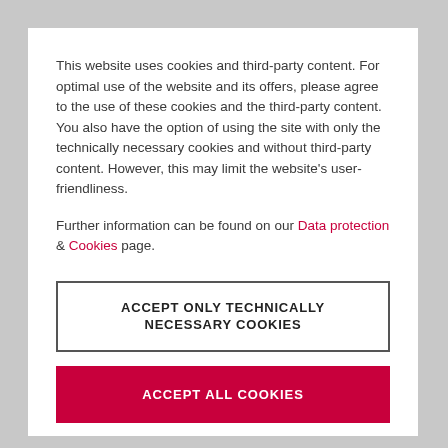This website uses cookies and third-party content. For optimal use of the website and its offers, please agree to the use of these cookies and the third-party content. You also have the option of using the site with only the technically necessary cookies and without third-party content. However, this may limit the website's user-friendliness.
Further information can be found on our Data protection & Cookies page.
ACCEPT ONLY TECHNICALLY NECESSARY COOKIES
ACCEPT ALL COOKIES